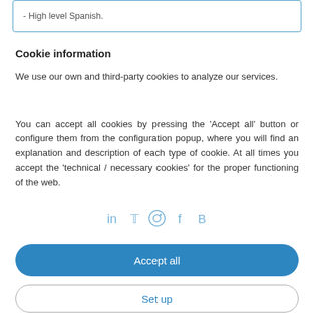- High level Spanish.
Cookie information
We use our own and third-party cookies to analyze our services.
You can accept all cookies by pressing the 'Accept all' button or configure them from the configuration popup, where you will find an explanation and description of each type of cookie. At all times you accept the 'technical / necessary cookies' for the proper functioning of the web.
[Figure (other): Social media icons: LinkedIn, Twitter, Instagram, Facebook, Blogger]
Accept all
Set up